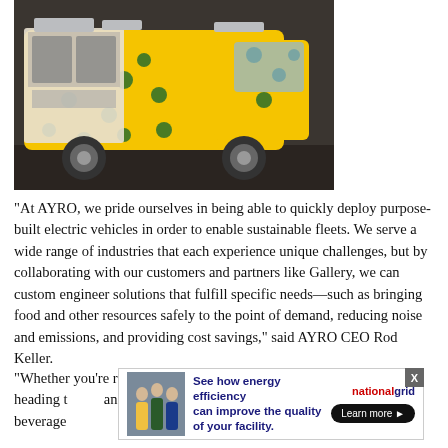[Figure (photo): Yellow food truck vehicle with blue polka dot pattern, doors open showing interior equipment, displayed in a studio/warehouse setting]
“At AYRO, we pride ourselves in being able to quickly deploy purpose-built electric vehicles in order to enable sustainable fleets. We serve a wide range of industries that each experience unique challenges, but by collaborating with our customers and partners like Gallery, we can custom engineer solutions that fulfill specific needs—such as bringing food and other resources safely to the point of demand, reducing noise and emissions, and providing cost savings,” said AYRO CEO Rod Keller.
“Whether you’re running to class, on your way into the office, or heading t... flight... d and beverage...,” said
[Figure (other): National Grid advertisement banner: 'See how energy efficiency can improve the quality of your facility.' with Learn more button and people in hi-vis vests photo]